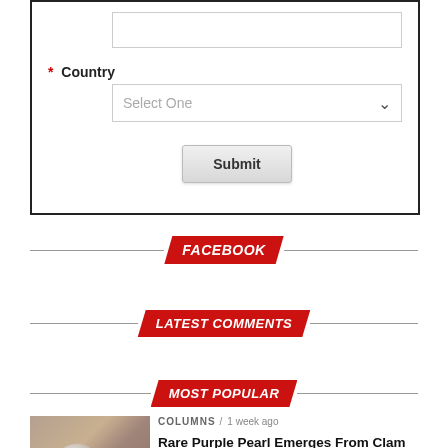[Figure (screenshot): Web form with text input, Country dropdown (Select One), and Submit button inside a bordered box]
FACEBOOK
LATEST COMMENTS
MOST POPULAR
[Figure (photo): Thumbnail photo of a clam/pearl appetizer dish]
COLUMNS / 1 week ago
Rare Purple Pearl Emerges From Clam Appetizer at Delaware Restaurant